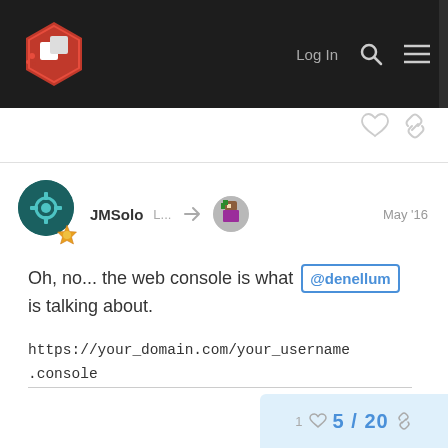[Figure (logo): Gaming/RPG forum logo - red hexagon with white cube/dice icon and pixel art dots]
Log In
JMSolo   L...   May '16
Oh, no... the web console is what @denellum is talking about.

https://your_domain.com/your_username.console